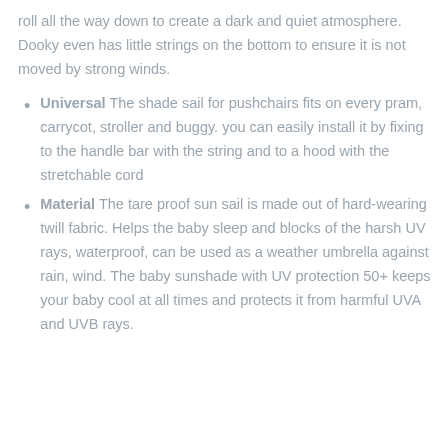roll all the way down to create a dark and quiet atmosphere. Dooky even has little strings on the bottom to ensure it is not moved by strong winds.
Universal The shade sail for pushchairs fits on every pram, carrycot, stroller and buggy. you can easily install it by fixing to the handle bar with the string and to a hood with the stretchable cord
Material The tare proof sun sail is made out of hard-wearing twill fabric. Helps the baby sleep and blocks of the harsh UV rays, waterproof, can be used as a weather umbrella against rain, wind. The baby sunshade with UV protection 50+ keeps your baby cool at all times and protects it from harmful UVA and UVB rays.